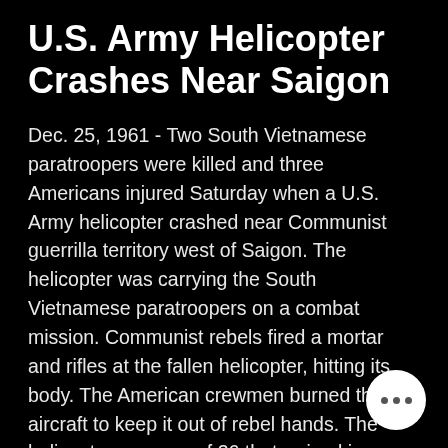U.S. Army Helicopter Crashes Near Saigon
Dec. 25, 1961 - Two South Vietnamese paratroopers were killed and three Americans injured Saturday when a U.S. Army helicopter crashed near Communist guerrilla territory west of Saigon. The helicopter was carrying the South Vietnamese paratroopers on a combat mission. Communist rebels fired a mortar and rifles at the fallen helicopter, hitting its body. The American crewmen burned the aircraft to keep it out of rebel hands. The helicopter was one of 36 that arrived in Saigon